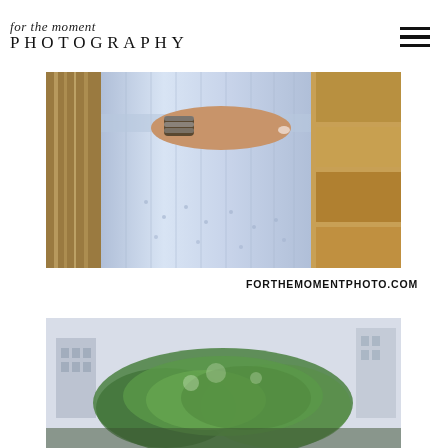for the moment PHOTOGRAPHY
[Figure (photo): Close-up of a pregnant woman's torso wearing a light blue eyelet dress, hand resting on belly with stacked bracelets, waterfall and stone wall in background]
FORTHEMOMENTPHOTO.COM
[Figure (photo): Outdoor scene with blurred green trees and city buildings in background, top portion of photo]